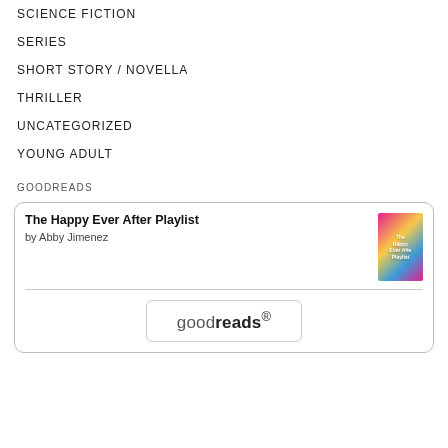SCIENCE FICTION
SERIES
SHORT STORY / NOVELLA
THRILLER
UNCATEGORIZED
YOUNG ADULT
GOODREADS
[Figure (other): Goodreads widget showing 'The Happy Ever After Playlist' by Abby Jimenez with book cover image and Goodreads logo button]